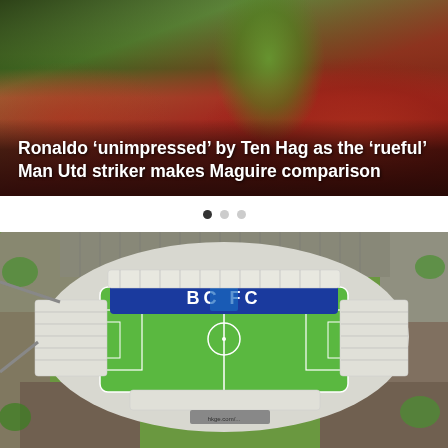[Figure (photo): Soccer/football player in green goalkeeper jersey with arms raised, blurred crowd background in red]
Ronaldo ‘unimpressed’ by Ten Hag as the ‘rueful’ Man Utd striker makes Maguire comparison
[Figure (photo): Aerial view of BCFC (Birmingham City Football Club) stadium showing the pitch and stands from above]